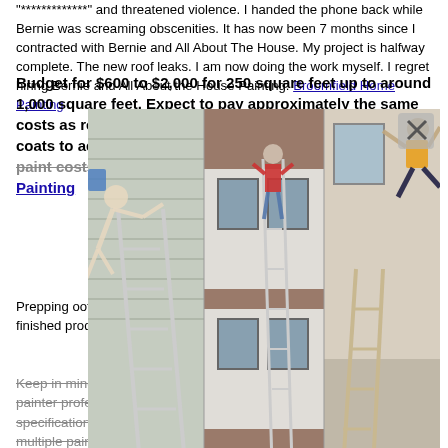"*************" and threatened violence. I handed the phone back while Bernie was screaming obscenities. It has now been 7 months since I contracted with Bernie and All About The House. My project is halfway complete. The new roof leaks. I am now doing the work myself. I regret hiring Bernie and All About the House Painting. Broomfield Home Painting
Budget for $600 to $2,000 for 250 square feet up to around 1,000 square feet. Expect to pay approximately the same costs as repainting vinyl siding. Angie's List suggests two coats to achieve at least 10 years of fresh color. [strikethrough: baked on paint costs repainting the original] Broomfield Home Painting
[Figure (photo): A collage of three images showing people falling off ladders near houses, with a gray overlay and an X close button.]
Prepping ... foot. This is ... the DIYer ... their own. Be... the finish. It... ee to finished product.
Keep in mind that every project has different requirements, and some painter professionals maybe be more equipped to handle the specifications of your painting services work than others. Talk to multiple painters before deciding which one is